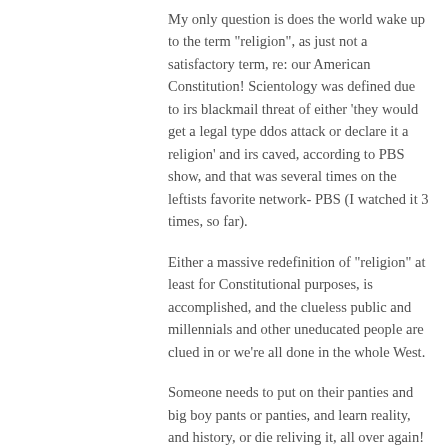My only question is does the world wake up to the term "religion", as just not a satisfactory term, re: our American Constitution! Scientology was defined due to irs blackmail threat of either 'they would get a legal type ddos attack or declare it a religion' and irs caved, according to PBS show, and that was several times on the leftists favorite network- PBS (I watched it 3 times, so far).
Either a massive redefinition of "religion" at least for Constitutional purposes, is accomplished, and the clueless public and millennials and other uneducated people are clued in or we're all done in the whole West.
Someone needs to put on their panties and big boy pants or panties, and learn reality, and history, or die reliving it, all over again!
Somebody needs to grow up, and it sure as hell is not you Daniel, nor I, Jack.